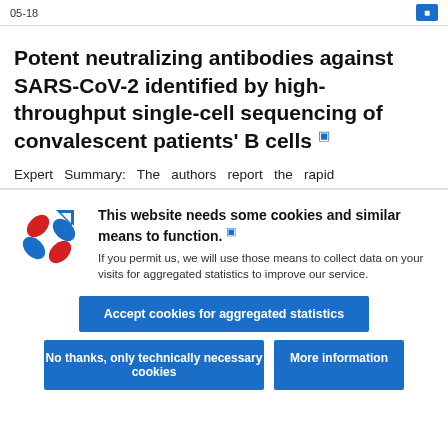05-18
Potent neutralizing antibodies against SARS-CoV-2 identified by high-throughput single-cell sequencing of convalescent patients' B cells
Expert Summary: The authors report the rapid
[Figure (logo): Website logo with red and blue pinwheel/cross design]
This website needs some cookies and similar means to function. If you permit us, we will use those means to collect data on your visits for aggregated statistics to improve our service.
Accept cookies for aggregated statistics
No thanks, only technically necessary cookies
More information